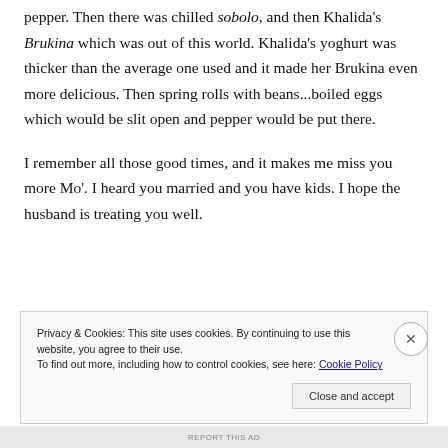pepper. Then there was chilled sobolo, and then Khalida's Brukina which was out of this world. Khalida's yoghurt was thicker than the average one used and it made her Brukina even more delicious. Then spring rolls with beans...boiled eggs which would be slit open and pepper would be put there.
I remember all those good times, and it makes me miss you more Mo'. I heard you married and you have kids. I hope the husband is treating you well.
Privacy & Cookies: This site uses cookies. By continuing to use this website, you agree to their use.
To find out more, including how to control cookies, see here: Cookie Policy
REPORT THIS AD